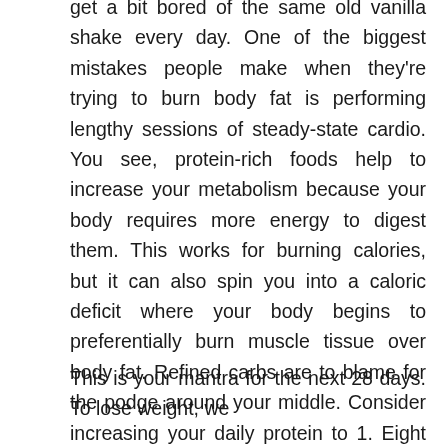get a bit bored of the same old vanilla shake every day. One of the biggest mistakes people make when they're trying to burn body fat is performing lengthy sessions of steady-state cardio. You see, protein-rich foods help to increase your metabolism because your body requires more energy to digest them. This works for burning calories, but it can also spin you into a caloric deficit where your body begins to preferentially burn muscle tissue over body fat. Refined carbs are to blame for the podge around your middle. Consider increasing your daily protein to 1. Eight weeks later he is one stone six pounds lighter, but had also gained himself a six pack, bulging biceps and dramatically reduced body fat. For best results, seek guidance from a registered dietitian. The best thing about this bodybuilding diet is that it's tailor-fitted to your unique metabolic type; it's not a one-size-fits-all diet. Instead, focus on integrating compound movements, such as squats, deadlifts, presses, and rows.
This is your mantra for the next 28 days. To lose weight, we